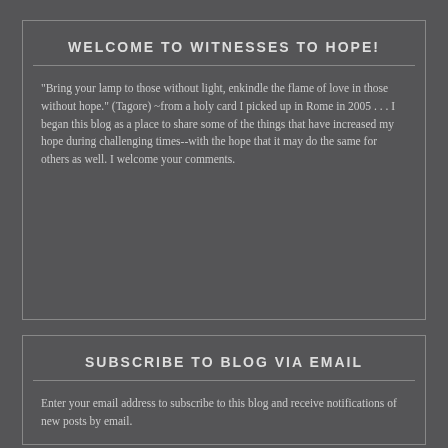WELCOME TO WITNESSES TO HOPE!
"Bring your lamp to those without light, enkindle the flame of love in those without hope." (Tagore) ~from a holy card I picked up in Rome in 2005 . . . I began this blog as a place to share some of the things that have increased my hope during challenging times--with the hope that it may do the same for others as well. I welcome your comments.
SUBSCRIBE TO BLOG VIA EMAIL
Enter your email address to subscribe to this blog and receive notifications of new posts by email.